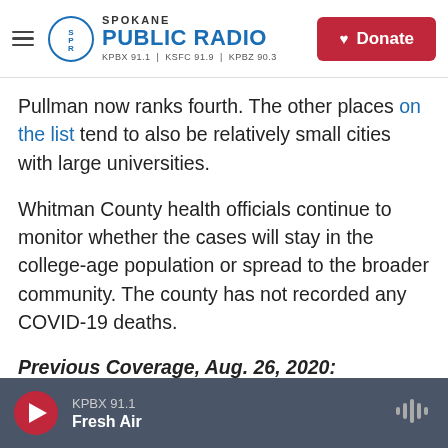Spokane Public Radio — KPBX 91.1 | KSFC 91.9 | KPBZ 90.3 — Donate
Pullman now ranks fourth. The other places on the list tend to also be relatively small cities with large universities.
Whitman County health officials continue to monitor whether the cases will stay in the college-age population or spread to the broader community. The county has not recorded any COVID-19 deaths.
Previous Coverage, Aug. 26, 2020:
Monday was the first day of classes for Washington State University's fall semester. It
KPBX 91.1 — Fresh Air